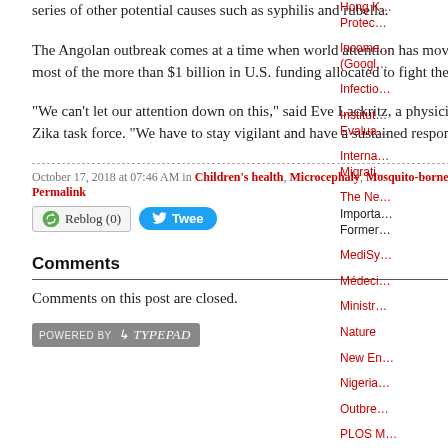series of other potential causes such as syphilis and rubella.
The Angolan outbreak comes at a time when world attention has moved on from Zika, and most of the more than $1 billion in U.S. funding allocated to fight the disease has been spent.
"We can't let our attention down on this," said Eve Lackritz, a physician who leads WHO's Zika task force. "We have to stay vigilant and have a sustained response."
October 17, 2018 at 07:46 AM in Children's health, Microcephaly, Mosquito-borne diseases, Zika virus | Permalink
Comments
Comments on this post are closed.
[Figure (logo): Powered by TypePad badge]
Hong Kong… Protec…
Income… (Googl…
Infectio…
Institut… Evalua…
Interna… Migrati…
The Ne… Importa… Former…
MediSy…
Médeci…
Ministr…
Nature
New En…
Nigeria…
Outbre…
PLOS M…
PLOS M…